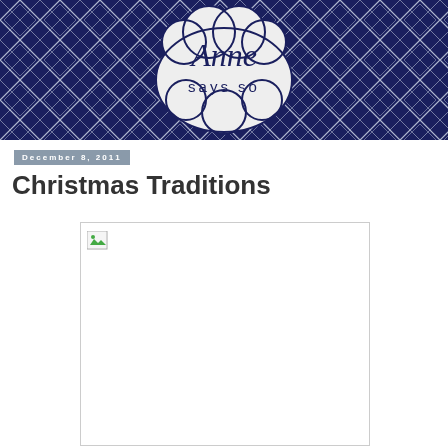[Figure (logo): Anne Says So blog header logo with navy blue argyle pattern background and cloud-shaped badge with script and sans-serif text]
December 8, 2011
Christmas Traditions
[Figure (photo): Broken/missing image placeholder with small image icon in top-left corner]